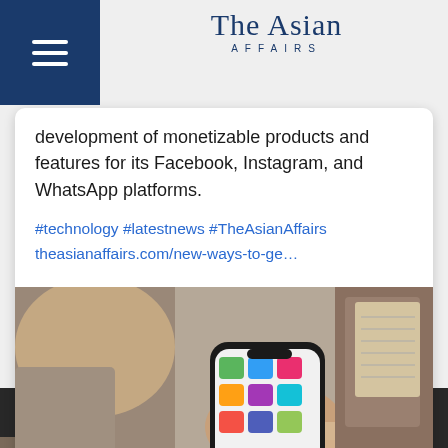The Asian Affairs
development of monetizable products and features for its Facebook, Instagram, and WhatsApp platforms.
#technology #latestnews #TheAsianAffairs theasianaffairs.com/new-ways-to-ge…
[Figure (photo): Person using a smartphone, tapping on the screen, with a notebook visible in the background on a wooden surface]
RECENT NEWS
After 13 years, Kim Bum and Lee Min Jung enjoy "Boys Over Flowers" reunion